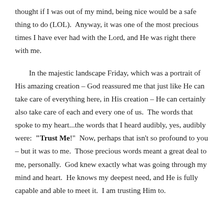thought if I was out of my mind, being nice would be a safe thing to do (LOL).  Anyway, it was one of the most precious times I have ever had with the Lord, and He was right there with me.
In the majestic landscape Friday, which was a portrait of His amazing creation – God reassured me that just like He can take care of everything here, in His creation – He can certainly also take care of each and every one of us.  The words that spoke to my heart...the words that I heard audibly, yes, audibly were:  "Trust Me!"  Now, perhaps that isn't so profound to you – but it was to me.  Those precious words meant a great deal to me, personally.  God knew exactly what was going through my mind and heart.  He knows my deepest need, and He is fully capable and able to meet it.  I am trusting Him to.